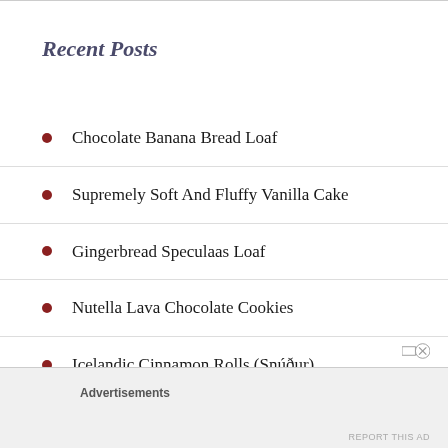Recent Posts
Chocolate Banana Bread Loaf
Supremely Soft And Fluffy Vanilla Cake
Gingerbread Speculaas Loaf
Nutella Lava Chocolate Cookies
Icelandic Cinnamon Rolls (Snúður)
Advertisements